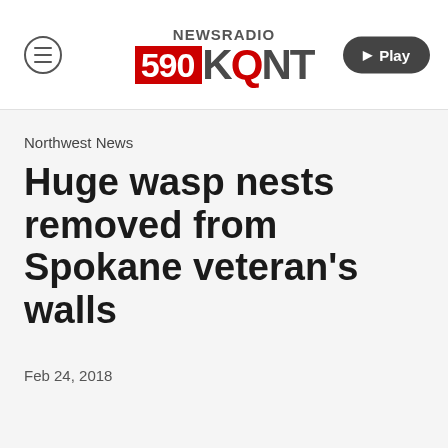[Figure (logo): NewsRadio 590 KQNT logo with hamburger menu and Play button]
Northwest News
Huge wasp nests removed from Spokane veteran's walls
Feb 24, 2018